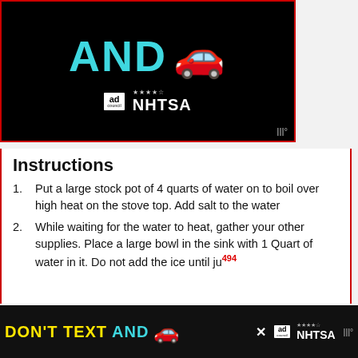[Figure (screenshot): NHTSA 'Don't Text and Drive' advertisement banner with black background showing the text 'AND' in teal and a red car emoji, along with Ad Council and NHTSA logos]
Instructions
Put a large stock pot of 4 quarts of water on to boil over high heat on the stove top. Add salt to the water
While waiting for the water to heat, gather your other supplies. Place a large bowl in the sink with 1 Quart of water in it. Do not add the ice until just before adding celery to the boiling water.
When water comes to a boil, reduce heat to medium so that water is at a hard simmer.
[Figure (screenshot): Bottom NHTSA 'Don't Text and Drive' ad bar with yellow and teal text, red car emoji, Ad Council and NHTSA logos, and close button]